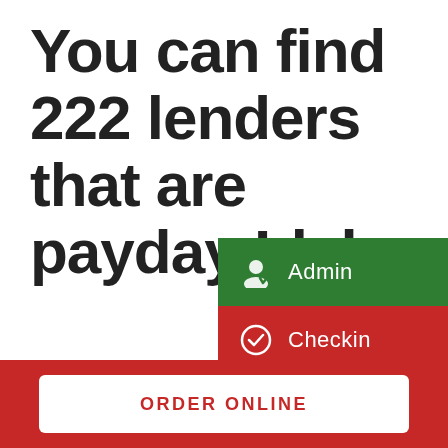You can find 222 lenders that are payday Idaho
Idaho lawmakers are looking at to cap exactly exactly how much interest payday loan providers may charge borrowers.
Many pay day loan stores charge rates of interest as much as 400 per
[Figure (screenshot): Dropdown menu overlay with two items: Admin (green background) and Checkin (red background), each with a white icon on the left.]
ORDER ONLINE